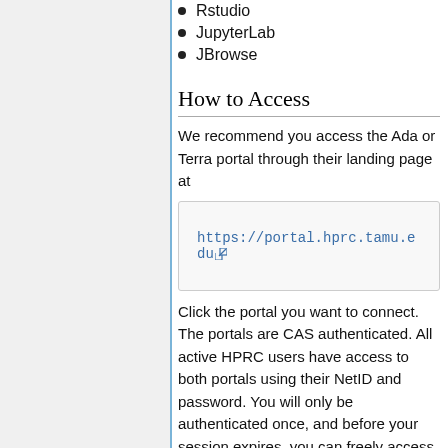Rstudio
JupyterLab
JBrowse
How to Access
We recommend you access the Ada or Terra portal through their landing page at
https://portal.hprc.tamu.edu
Click the portal you want to connect. The portals are CAS authenticated. All active HPRC users have access to both portals using their NetID and password. You will only be authenticated once, and before your session expires, you can freely access both portals without further